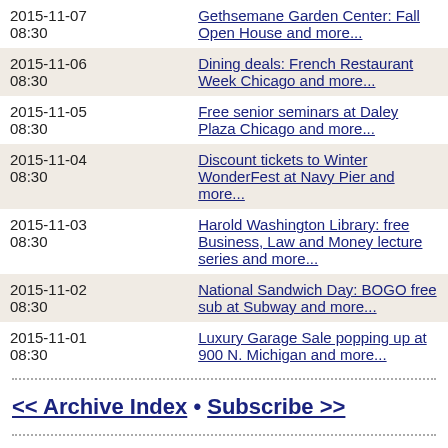| Date | Event |
| --- | --- |
| 2015-11-07
08:30 | Gethsemane Garden Center: Fall Open House and more... |
| 2015-11-06
08:30 | Dining deals: French Restaurant Week Chicago and more... |
| 2015-11-05
08:30 | Free senior seminars at Daley Plaza Chicago and more... |
| 2015-11-04
08:30 | Discount tickets to Winter WonderFest at Navy Pier and more... |
| 2015-11-03
08:30 | Harold Washington Library: free Business, Law and Money lecture series and more... |
| 2015-11-02
08:30 | National Sandwich Day: BOGO free sub at Subway and more... |
| 2015-11-01
08:30 | Luxury Garage Sale popping up at 900 N. Michigan and more... |
<< Archive Index • Subscribe >>